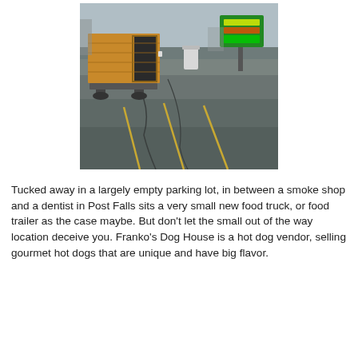[Figure (photo): A small wooden food trailer/truck parked in a largely empty asphalt parking lot. The trailer has wood paneling and a dark doorway opening. In the background there is a green illuminated sign and some buildings under an overcast sky.]
Tucked away in a largely empty parking lot, in between a smoke shop and a dentist in Post Falls sits a very small new food truck, or food trailer as the case maybe. But don't let the small out of the way location deceive you. Franko's Dog House is a hot dog vendor, selling gourmet hot dogs that are unique and have big flavor.